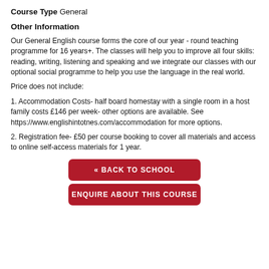Course Type General
Other Information
Our General English course forms the core of our year - round teaching programme for 16 years+. The classes will help you to improve all four skills: reading, writing, listening and speaking and we integrate our classes with our optional social programme to help you use the language in the real world.
Price does not include:
1. Accommodation Costs- half board homestay with a single room in a host family costs £146 per week- other options are available. See https://www.englishintotnes.com/accommodation for more options.
2. Registration fee- £50 per course booking to cover all materials and access to online self-access materials for 1 year.
[Figure (other): Red button with text '« BACK TO SCHOOL']
[Figure (other): Red button with text 'ENQUIRE ABOUT THIS COURSE']